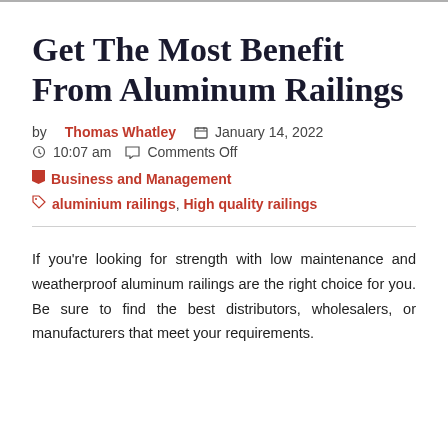Get The Most Benefit From Aluminum Railings
by Thomas Whatley  📅 January 14, 2022
⌛ 10:07 am  💬 Comments Off
🚩 Business and Management
🏷 aluminium railings, High quality railings
If you're looking for strength with low maintenance and weatherproof aluminum railings are the right choice for you. Be sure to find the best distributors, wholesalers, or manufacturers that meet your requirements.